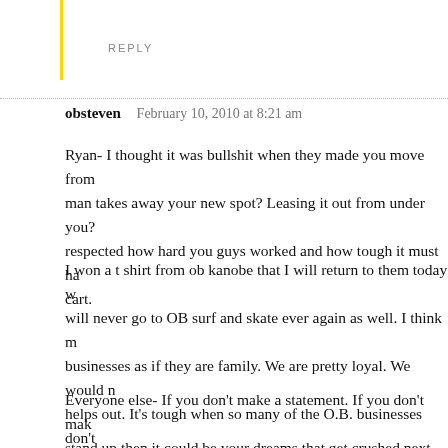REPLY
obsteven   February 10, 2010 at 8:21 am
Ryan- I thought it was bullshit when they made you move from man takes away your new spot? Leasing it out from under you? respected how hard you guys worked and how tough it must ha cart.
I won a t shirt from ob kanobe that I will return to them today w will never go to OB surf and skate ever again as well. I think m businesses as if they are family. We are pretty loyal. We would n helps out. It’s tough when so many of the O.B. businesses don’t
Everyone else- If you don’t make a statement. If you don’t mak stand up then it could be your dreams that get crushed next.